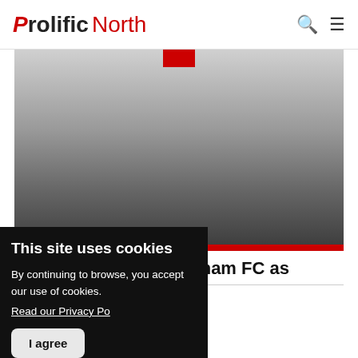Prolific North
[Figure (photo): Hero image with gradient from light grey to dark grey, red bar at bottom, red square icon centered at top edge]
presenter joins Altrincham FC as
This site uses cookies
By continuing to browse, you accept our use of cookies.
Read our Privacy Po...
I agree